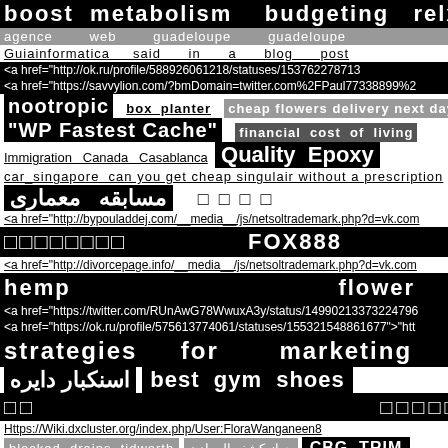boost metabolism   budgeting   relx  □ □
agence web guadeloupe guadeloupe
Guiainformatica said in a blog post
<a href="http://ok.ru/profile/588926061218/statuses/153762278713
<a href="https://savvylion.com/?bmDomain=twitter.com%2FPaul77338899%2
nootropic   box_planter   cheap flowers delivery next day
"WP Fastest Cache"   financial cost of living
Immigration Canada Casablanca   Quality Epoxy
car_singapore can you get cheap singulair without a prescription
مسابقه معماری    □ □ □ □
<a href="http://bypouladdej.com/__media__/js/netsoltrademark.php?d=vk.com
□□□□□□□□   FOX888
<a href="http://divorcepage.info/__media__/js/netsoltrademark.php?d=vk.com
hemp   flower
<a href="https://twitter.com/RUnAwG78WwuxA3y/status/14990213373224796
<a href="https://ok.ru/profile/575613774061/statuses/155321548861677">"htt
strategies   for   marketing
اسنکبار دایره   best gym shoes
□□   □□□□□
Https://Wiki.dxcluster.org/index.php/User:FloraWanganeen8
blocked drains tidworth   جهاز كشف المعادن   CBG TRIM